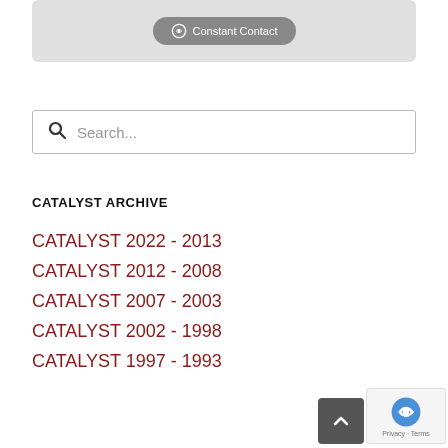[Figure (logo): Constant Contact button/logo on grey banner]
[Figure (other): Search input box with magnifying glass icon and placeholder text 'Search...']
CATALYST ARCHIVE
CATALYST 2022 - 2013
CATALYST 2012 - 2008
CATALYST 2007 - 2003
CATALYST 2002 - 1998
CATALYST 1997 - 1993
Privacy · Terms